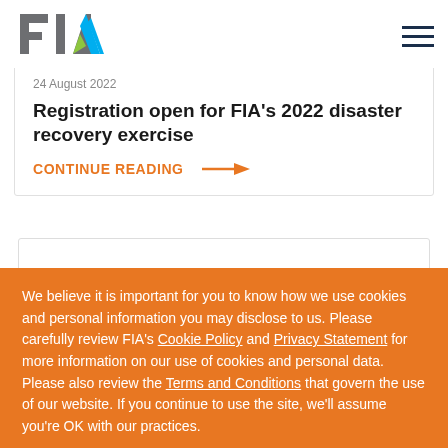FIA logo and navigation
24 August 2022
Registration open for FIA's 2022 disaster recovery exercise
CONTINUE READING →
We believe it is important for you to know how we use cookies and personal information you may disclose to us. Please carefully review FIA's Cookie Policy and Privacy Statement for more information on our use of cookies and personal data. Please also review the Terms and Conditions that govern the use of our website. If you continue to use the site, we'll assume you're OK with our practices.
I'm fine with this